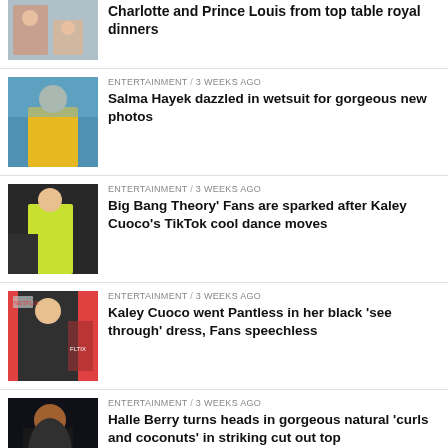Charlotte and Prince Louis from top table royal dinners — ENTERTAINMENT / 3 weeks ago
Salma Hayek dazzled in wetsuit for gorgeous new photos — ENTERTAINMENT / 3 weeks ago
Big Bang Theory' Fans are sparked after Kaley Cuoco's TikTok cool dance moves — ENTERTAINMENT / 3 weeks ago
Kaley Cuoco went Pantless in her black 'see through' dress, Fans speechless — ENTERTAINMENT / 3 weeks ago
Halle Berry turns heads in gorgeous natural 'curls and coconuts' in striking cut out top — ENTERTAINMENT / 3 weeks ago
Ellen DeGeneres could have saved her from her — ENTERTAINMENT / 3 weeks ago